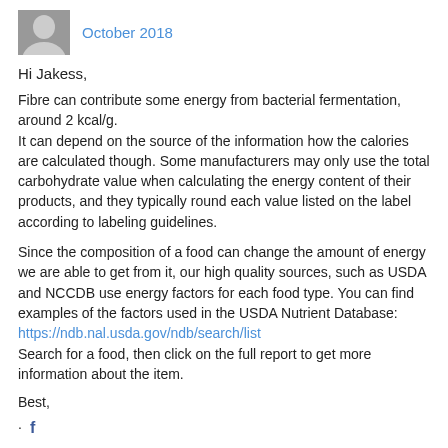October 2018
Hi Jakess,
Fibre can contribute some energy from bacterial fermentation, around 2 kcal/g.
It can depend on the source of the information how the calories are calculated though. Some manufacturers may only use the total carbohydrate value when calculating the energy content of their products, and they typically round each value listed on the label according to labeling guidelines.
Since the composition of a food can change the amount of energy we are able to get from it, our high quality sources, such as USDA and NCCDB use energy factors for each food type. You can find examples of the factors used in the USDA Nutrient Database: https://ndb.nal.usda.gov/ndb/search/list
Search for a food, then click on the full report to get more information about the item.
Best,
· f